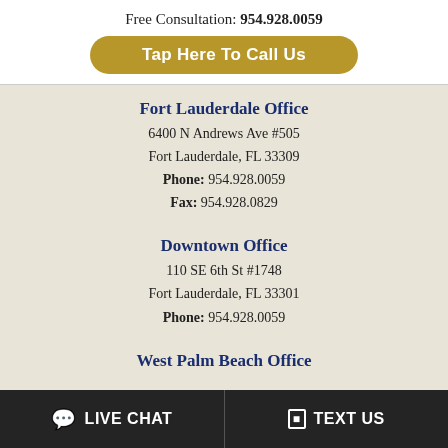Free Consultation: 954.928.0059
Tap Here To Call Us
Fort Lauderdale Office
6400 N Andrews Ave #505
Fort Lauderdale, FL 33309
Phone: 954.928.0059
Fax: 954.928.0829
Downtown Office
110 SE 6th St #1748
Fort Lauderdale, FL 33301
Phone: 954.928.0059
West Palm Beach Office
LIVE CHAT
TEXT US